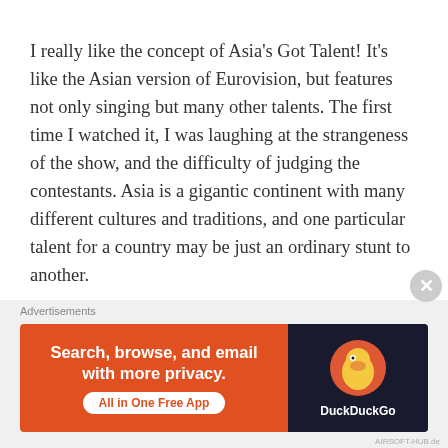I really like the concept of Asia's Got Talent! It's like the Asian version of Eurovision, but features not only singing but many other talents. The first time I watched it, I was laughing at the strangeness of the show, and the difficulty of judging the contestants. Asia is a gigantic continent with many different cultures and traditions, and one particular talent for a country may be just an ordinary stunt to another.
The first Grand Finals was held on my birthday last Thursday. And I'm proud to say that the Philippines is dominating the show, with 4 of the 9 grand finalists coming from PH. The rest are from Thailand, China,
Advertisements
[Figure (other): DuckDuckGo advertisement banner: orange background with text 'Search, browse, and email with more privacy. All in One Free App' and DuckDuckGo logo on dark right panel.]